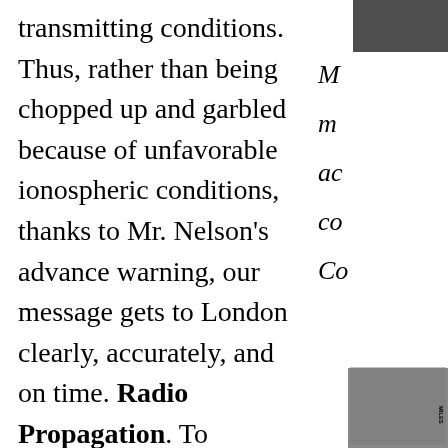transmitting conditions. Thus, rather than being chopped up and garbled because of unfavorable ionospheric conditions, thanks to Mr. Nelson's advance warning, our message gets to London clearly, accurately, and on time. Radio Propagation. To appreciate the importance of
[Figure (photo): Partial photograph visible at top right corner of page]
M me ac co Co
[Figure (photo): Partial photograph at bottom right with miles scale marker]